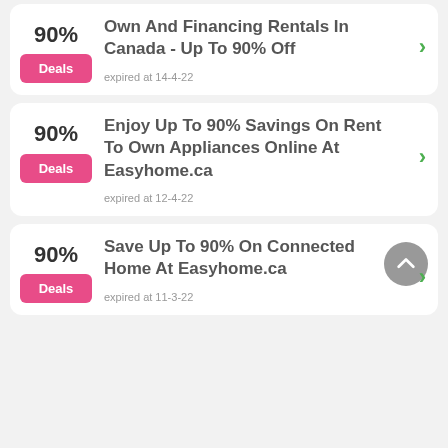90% Deals — Own And Financing Rentals In Canada - Up To 90% Off — expired at 14-4-22
90% Deals — Enjoy Up To 90% Savings On Rent To Own Appliances Online At Easyhome.ca — expired at 12-4-22
90% Deals — Save Up To 90% On Connected Home At Easyhome.ca — expired at 11-3-22